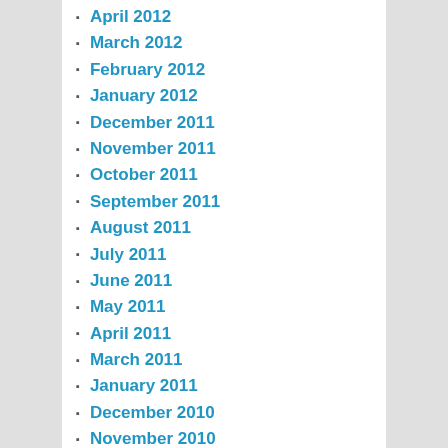April 2012
March 2012
February 2012
January 2012
December 2011
November 2011
October 2011
September 2011
August 2011
July 2011
June 2011
May 2011
April 2011
March 2011
January 2011
December 2010
November 2010
October 2010
September 2010
August 2010
July 2010